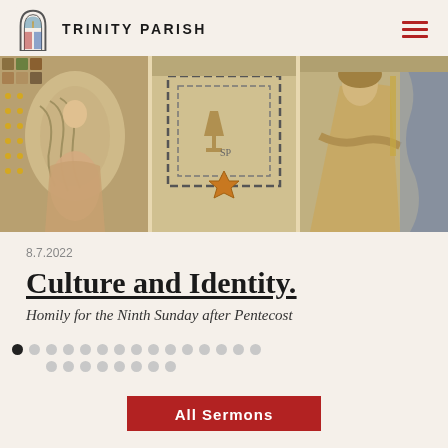TRINITY PARISH
[Figure (photo): Mosaic artwork depicting religious figures and ornamental designs including a winged creature, a central altar or lectern with geometric frame, a six-pointed star, and a robed figure on the right.]
8.7.2022
Culture and Identity.
Homily for the Ninth Sunday after Pentecost
All Sermons